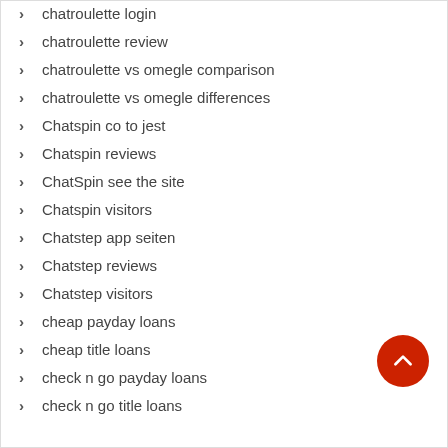chatroulette login
chatroulette review
chatroulette vs omegle comparison
chatroulette vs omegle differences
Chatspin co to jest
Chatspin reviews
ChatSpin see the site
Chatspin visitors
Chatstep app seiten
Chatstep reviews
Chatstep visitors
cheap payday loans
cheap title loans
check n go payday loans
check n go title loans